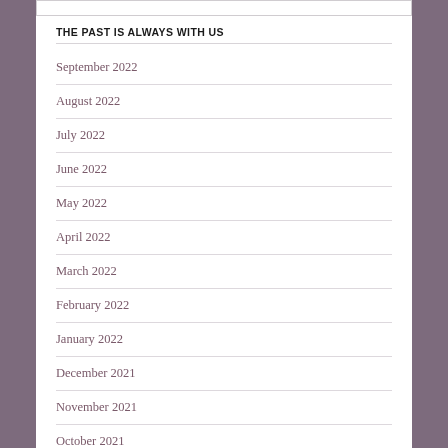THE PAST IS ALWAYS WITH US
September 2022
August 2022
July 2022
June 2022
May 2022
April 2022
March 2022
February 2022
January 2022
December 2021
November 2021
October 2021